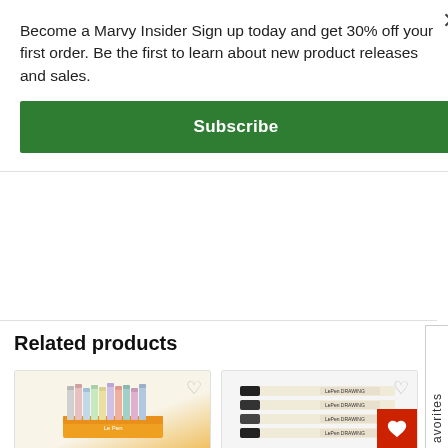Become a Marvy Insider Sign up today and get 30% off your first order. Be the first to learn about new product releases and sales.
Subscribe
avorites
Related products
[Figure (photo): Product card showing colorful dual-tip marker set in orange box packaging with heart/wishlist icon]
[Figure (photo): Product card showing LePen drawing pens set of 4 with red heart wishlist button overlay]